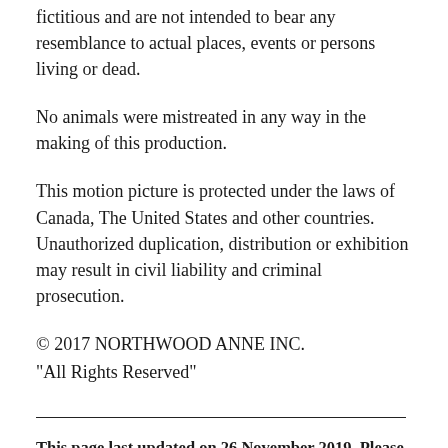fictitious and are not intended to bear any resemblance to actual places, events or persons living or dead.
No animals were mistreated in any way in the making of this production.
This motion picture is protected under the laws of Canada, The United States and other countries. Unauthorized duplication, distribution or exhibition may result in civil liability and criminal prosecution.
© 2017 NORTHWOOD ANNE INC.
"All Rights Reserved"
This page last updated on 26 November 2019. Please contact the site owner with additions, corrections, questions, and suggestions.